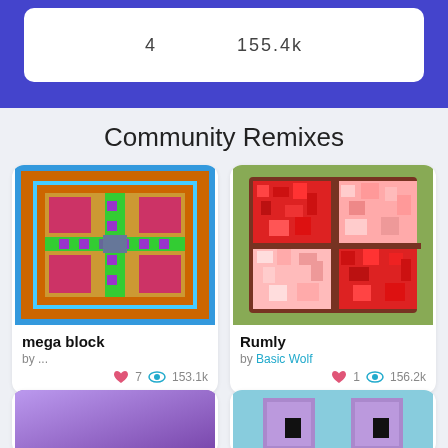4   155.4k
Community Remixes
[Figure (illustration): Pixel art mega block pattern with orange, gold, pink, cyan, green and purple colors on blue background]
mega block
by ...
7   153.1k
[Figure (illustration): Pixel art red and pink mosaic grid pattern on green background with dark brown frame]
Rumly
by Basic Wolf
1   156.2k
[Figure (illustration): Purple gradient background card thumbnail]
[Figure (illustration): Pixel art purple blocks with black squares on light blue background]